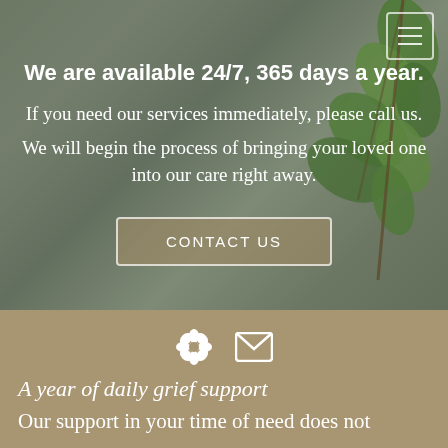[Figure (photo): Background photo of green plant leaves against a blurred grey/green sky with tan overlay]
We are available 24/7, 365 days a year.
If you need our services immediately, please call us.
We will begin the process of bringing your loved one into our care right away.
CONTACT US
[Figure (illustration): Two icons: a flower/bloom icon and an envelope/mail icon]
A year of daily grief support
Our support in your time of need does not